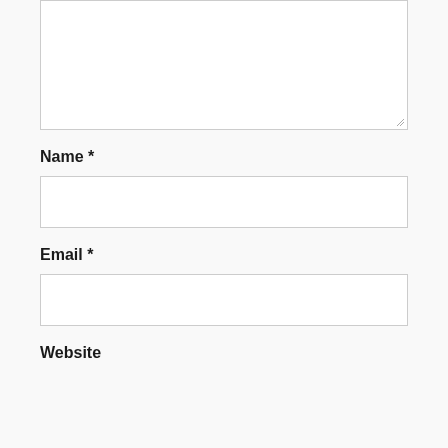[Figure (other): Empty textarea input box with resize handle at bottom-right corner]
Name *
[Figure (other): Empty single-line text input box for Name field]
Email *
[Figure (other): Empty single-line text input box for Email field]
Website